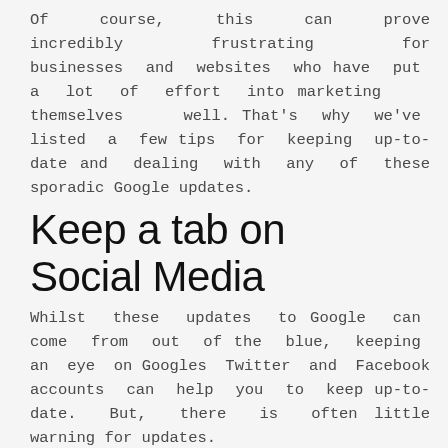Of course, this can prove incredibly frustrating for businesses and websites who have put a lot of effort into marketing themselves well. That's why we've listed a few tips for keeping up-to-date and dealing with any of these sporadic Google updates.
Keep a tab on Social Media
Whilst these updates to Google can come from out of the blue, keeping an eye on Googles Twitter and Facebook accounts can help you to keep up-to-date. But, there is often little warning for updates.
K